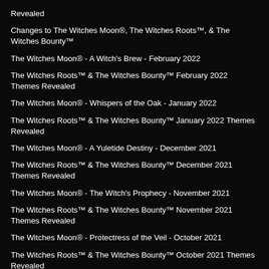Revealed
Changes to The Witches Moon®, The Witches Roots™, & The Witches Bounty™
The Witches Moon® - A Witch's Brew - February 2022
The Witches Roots™ & The Witches Bounty™ February 2022 Themes Revealed
The Witches Moon® - Whispers of the Oak - January 2022
The Witches Roots™ & The Witches Bounty™ January 2022 Themes Revealed
The Witches Moon® - A Yuletide Destiny - December 2021
The Witches Roots™ & The Witches Bounty™ December 2021 Themes Revealed
The Witches Moon® - The Witch's Prophecy - November 2021
The Witches Roots™ & The Witches Bounty™ November 2021 Themes Revealed
The Witches Moon® - Protectress of the Veil - October 2021
The Witches Roots™ & The Witches Bounty™ October 2021 Themes Revealed
The Witches Moon® - Goddess of the Night - September 2021
The Witches Roots™ & The Witches Bounty™ September 2021 Themes